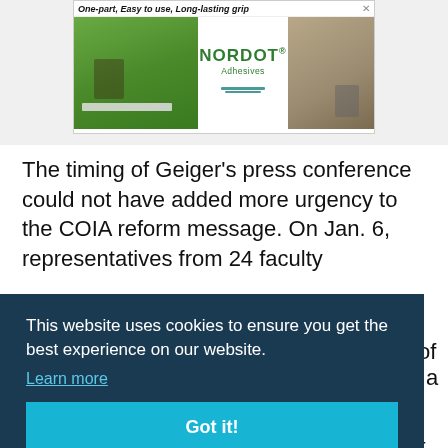[Figure (photo): NORDOT Adhesives advertisement banner showing workers applying adhesive on turf/field, with 'One-part, Easy to use, Long-lasting grip' tagline and NORDOT Adhesives logo]
The timing of Geiger's press conference could not have added more urgency to the COIA reform message. On Jan. 6, representatives from 24 faculty the of a Rules 8 to best
This website uses cookies to ensure you get the best experience on our website. Learn more Got it!